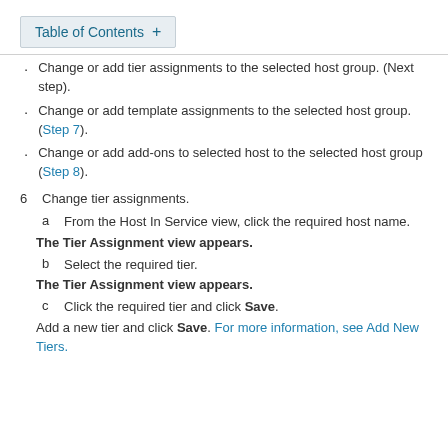Table of Contents +
Change or add tier assignments to the selected host group. (Next step).
Change or add template assignments to the selected host group. (Step 7).
Change or add add-ons to selected host to the selected host group (Step 8).
6   Change tier assignments.
a   From the Host In Service view, click the required host name.
The Tier Assignment view appears.
b   Select the required tier.
The Tier Assignment view appears.
c   Click the required tier and click Save.
Add a new tier and click Save. For more information, see Add New Tiers.